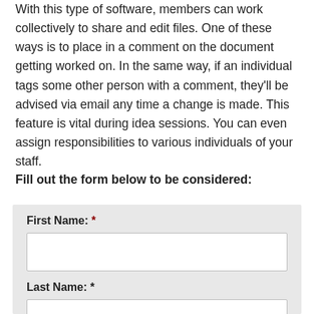With this type of software, members can work collectively to share and edit files. One of these ways is to place in a comment on the document getting worked on. In the same way, if an individual tags some other person with a comment, they'll be advised via email any time a change is made. This feature is vital during idea sessions. You can even assign responsibilities to various individuals of your staff.
Fill out the form below to be considered:
[Figure (other): A web form with fields for First Name (required) and Last Name (required), displayed on a light gray background.]